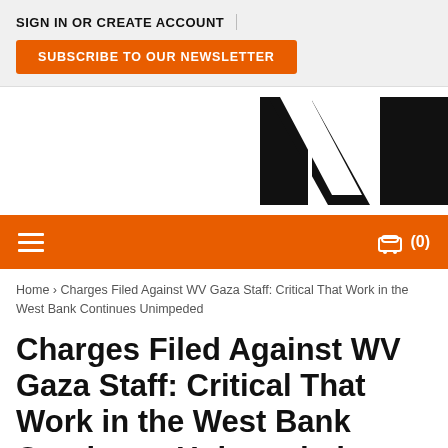SIGN IN OR CREATE ACCOUNT
SUBSCRIBE TO OUR NEWSLETTER
[Figure (logo): Large stylized W/V letter logo in black on white background, partially cropped at right edge]
≡   🛒 (0)
Home › Charges Filed Against WV Gaza Staff: Critical That Work in the West Bank Continues Unimpeded
Charges Filed Against WV Gaza Staff: Critical That Work in the West Bank Continues Unimpeded
17 Jun 2016 - 12:00am | Latest Updates